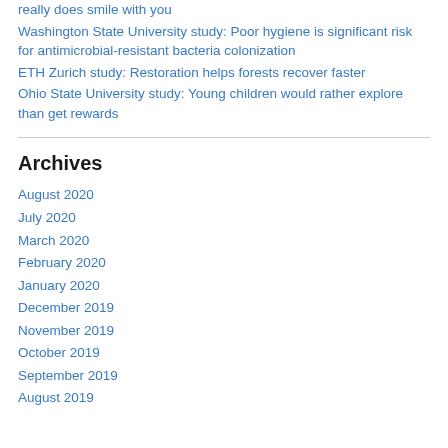really does smile with you
Washington State University study: Poor hygiene is significant risk for antimicrobial-resistant bacteria colonization
ETH Zurich study: Restoration helps forests recover faster
Ohio State University study: Young children would rather explore than get rewards
Archives
August 2020
July 2020
March 2020
February 2020
January 2020
December 2019
November 2019
October 2019
September 2019
August 2019